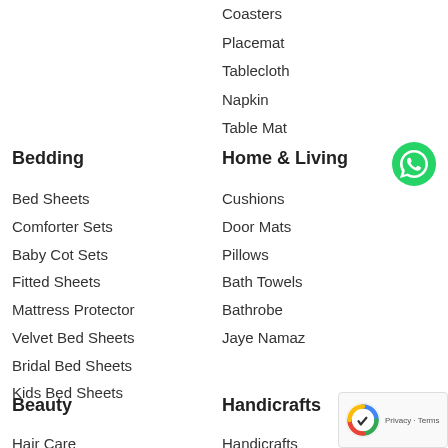Coasters
Placemat
Tablecloth
Napkin
Table Mat
Bedding
Bed Sheets
Comforter Sets
Baby Cot Sets
Fitted Sheets
Mattress Protector
Velvet Bed Sheets
Bridal Bed Sheets
Kids Bed Sheets
Home & Living
[Figure (logo): WhatsApp green phone icon]
Cushions
Door Mats
Pillows
Bath Towels
Bathrobe
Jaye Namaz
Beauty
Handicrafts
Hair Care
Handicrafts
[Figure (other): Google reCAPTCHA Privacy Terms badge]